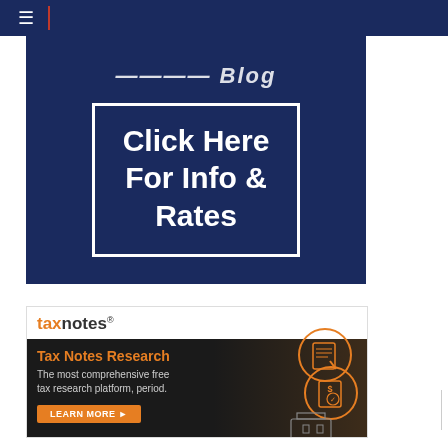≡ |
[Figure (screenshot): Dark blue advertisement banner with partial italic title text visible at top, and a white-bordered box containing bold white text 'Click Here For Info & Rates']
[Figure (screenshot): Tax Notes advertisement: taxnotes logo in orange and black, dark background panel with 'Tax Notes Research' heading in orange, subtext 'The most comprehensive free tax research platform, period.', orange 'LEARN MORE' button, and circular document/money icons on the right]